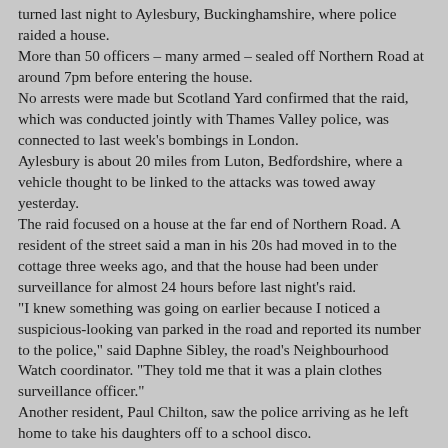turned last night to Aylesbury, Buckinghamshire, where police raided a house. More than 50 officers – many armed – sealed off Northern Road at around 7pm before entering the house. No arrests were made but Scotland Yard confirmed that the raid, which was conducted jointly with Thames Valley police, was connected to last week's bombings in London. Aylesbury is about 20 miles from Luton, Bedfordshire, where a vehicle thought to be linked to the attacks was towed away yesterday. The raid focused on a house at the far end of Northern Road. A resident of the street said a man in his 20s had moved in to the cottage three weeks ago, and that the house had been under surveillance for almost 24 hours before last night's raid. "I knew something was going on earlier because I noticed a suspicious-looking van parked in the road and reported its number to the police," said Daphne Sibley, the road's Neighbourhood Watch coordinator. "They told me that it was a plain clothes surveillance officer." Another resident, Paul Chilton, saw the police arriving as he left home to take his daughters off to a school disco. "I noticed a Land-Rover which looked like an armed response vehicle and I thought that was a bit strange," said Mr Chilton, 40. "I dropped the girls off and set out for a Neighbourhood Watch meeting when, lo and behold, I saw